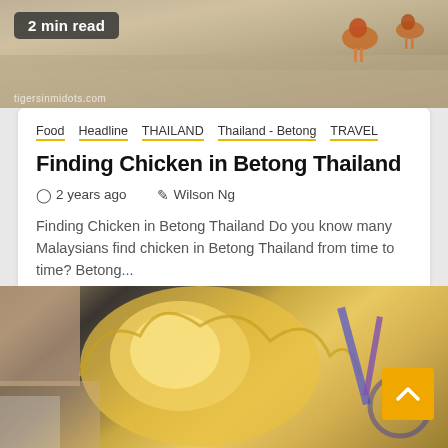[Figure (photo): Photo of chickens on sandy ground, website screenshot with 2 min read badge and watermark tigersinmidots.com]
Food  Headline  THAILAND  Thailand - Betong  TRAVEL
Finding Chicken in Betong Thailand
2 years ago   Wilson Ng
Finding Chicken in Betong Thailand Do you know many Malaysians find chicken in Betong Thailand from time to time? Betong...
[Figure (photo): Close-up photo of an open durian fruit being held, with a bicycle visible in the background and a scroll-up button overlay]